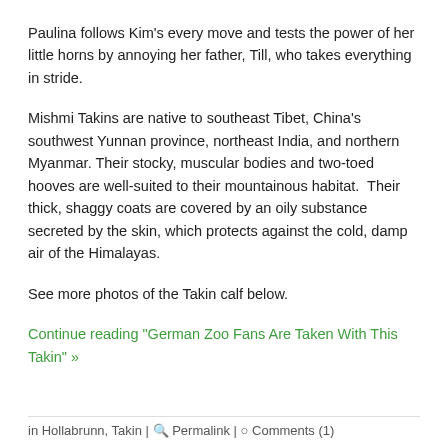Paulina follows Kim's every move and tests the power of her little horns by annoying her father, Till, who takes everything in stride.
Mishmi Takins are native to southeast Tibet, China's southwest Yunnan province, northeast India, and northern Myanmar. Their stocky, muscular bodies and two-toed hooves are well-suited to their mountainous habitat.  Their thick, shaggy coats are covered by an oily substance secreted by the skin, which protects against the cold, damp air of the Himalayas.
See more photos of the Takin calf below.
Continue reading "German Zoo Fans Are Taken With This Takin" »
in Hollabrunn, Takin | ⊕ Permalink | ○ Comments (1)